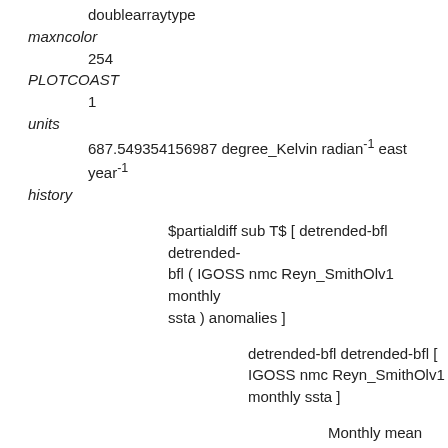doublearraytype
maxncolor
254
PLOTCOAST
1
units
687.549354156987 degree_Kelvin radian⁻¹ east year⁻¹
history
$partialdiff sub T$ [ detrended-bfl detrended-bfl ( IGOSS nmc Reyn_SmithOlv1 monthly ssta ) anomalies ]
detrended-bfl detrended-bfl [ IGOSS nmc Reyn_SmithOlv1 monthly ssta ]
Monthly mean sea surface temperature anomaly (blended from ship, buoy, and bias-corrected satellite data)